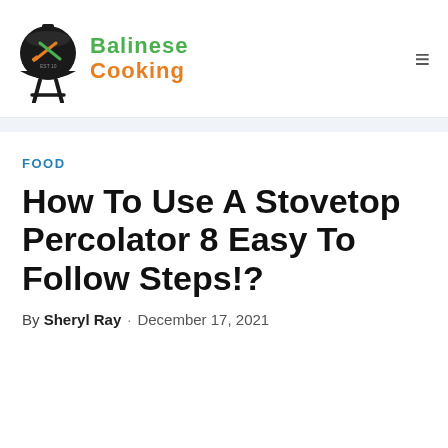Balinese Cooking
FOOD
How To Use A Stovetop Percolator 8 Easy To Follow Steps!?
By Sheryl Ray · December 17, 2021